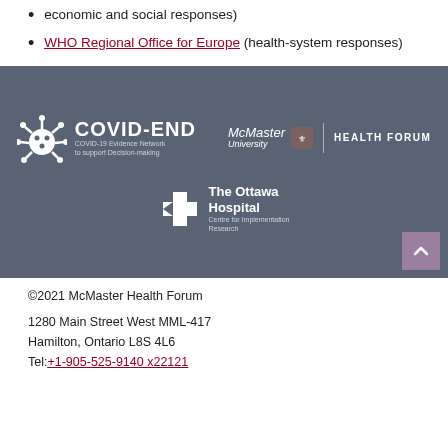economic and social responses)
WHO Regional Office for Europe (health-system responses)
[Figure (logo): COVID-END (COVID-19 Evidence Network to support Decision-making) logo, McMaster University Health Forum logo, and The Ottawa Hospital Centre for Implementation Research logo on a grey-blue banner background.]
©2021 McMaster Health Forum
1280 Main Street West MML-417
Hamilton, Ontario L8S 4L6
Tel:+1-905-525-9140 x22121